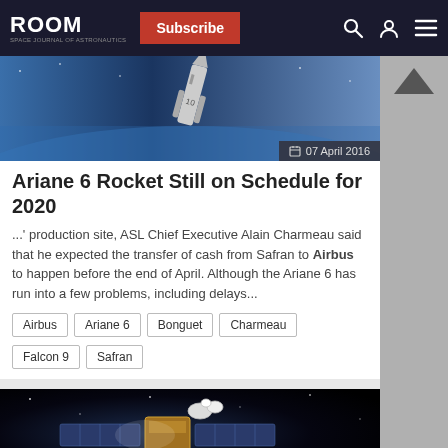ROOM | Subscribe | Search | Account | Menu
[Figure (photo): Ariane rocket launching, with Earth and space background. Date: 07 April 2016]
Ariane 6 Rocket Still on Schedule for 2020
...' production site, ASL Chief Executive Alain Charmeau said that he expected the transfer of cash from Safran to Airbus to happen before the end of April. Although the Ariane 6 has run into a few problems, including delays...
Airbus
Ariane 6
Bonguet
Charmeau
Falcon 9
Safran
[Figure (photo): Satellite in space with solar panels and antenna dish. Date: 18 October 2017]